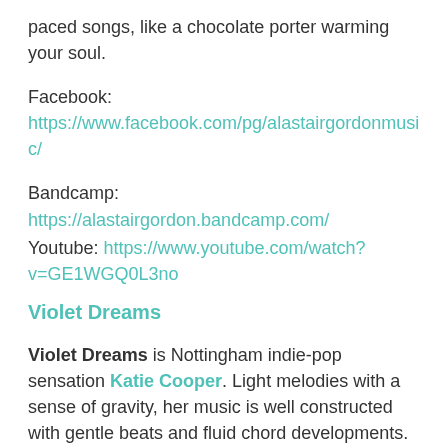paced songs, like a chocolate porter warming your soul.
Facebook: https://www.facebook.com/pg/alastairgordonmusic/
Bandcamp: https://alastairgordon.bandcamp.com/
Youtube: https://www.youtube.com/watch?v=GE1WGQ0L3no
Violet Dreams
Violet Dreams is Nottingham indie-pop sensation Katie Cooper. Light melodies with a sense of gravity, her music is well constructed with gentle beats and fluid chord developments.
Violet Dreams first established herself in the Nottingham Music Scene in 2017, supporting